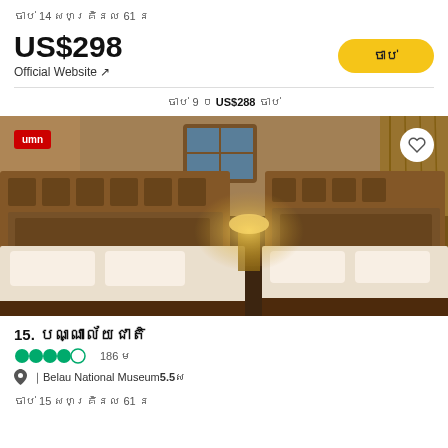ចាប់ 14 សហគ្រិនល 61 ន
US$298 Official Website ↗
ចាប់ 9 ០ US$288 ចាប់
[Figure (photo): Hotel room with two large beds with wooden headboards, bedside lamp lit, warm interior lighting]
15. បណ្ណាល័យជាតិ
●●●●○ 186 ម
📍Belau National Museum5.5ស
ចាប់ 15 សហគ្រិនល 61 ន